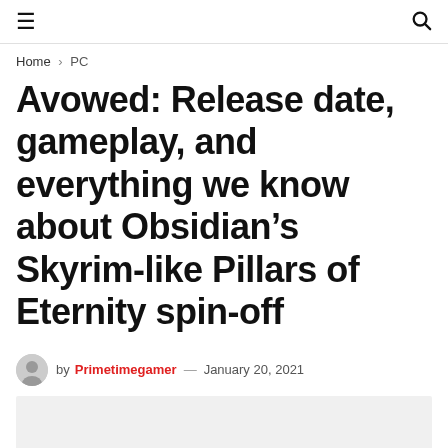☰ 🔍
Home › PC
Avowed: Release date, gameplay, and everything we know about Obsidian's Skyrim-like Pillars of Eternity spin-off
by Primetimegamer — January 20, 2021
[Figure (photo): Light gray placeholder image area below the article header]